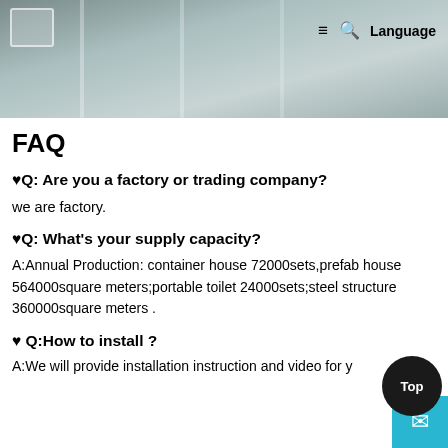FAQ page header with navigation: hamburger menu, search icon, Language
FAQ
♥Q: Are you a factory or trading company?
we are factory.
♥Q: What's your supply capacity?
A:Annual Production: container house 72000sets,prefab house 564000square meters;portable toilet 24000sets;steel structure 360000square meters .
♥ Q:How to install ?
A:We will provide installation instruction and video for y...